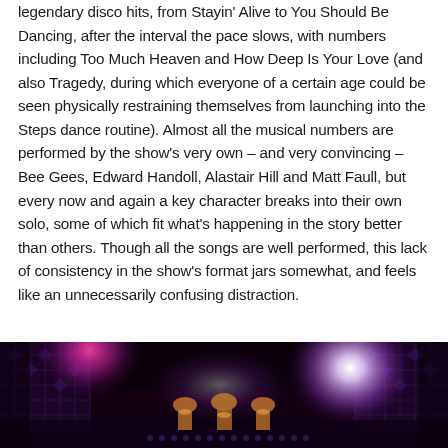legendary disco hits, from Stayin' Alive to You Should Be Dancing, after the interval the pace slows, with numbers including Too Much Heaven and How Deep Is Your Love (and also Tragedy, during which everyone of a certain age could be seen physically restraining themselves from launching into the Steps dance routine). Almost all the musical numbers are performed by the show's very own – and very convincing – Bee Gees, Edward Handoll, Alastair Hill and Matt Faull, but every now and again a key character breaks into their own solo, some of which fit what's happening in the story better than others. Though all the songs are well performed, this lack of consistency in the show's format jars somewhat, and feels like an unnecessarily confusing distraction.
[Figure (photo): Stage performance photo showing performers on stage with colorful lighting including purple/magenta spotlights against a dark background, with decorative lattice backdrop panels]